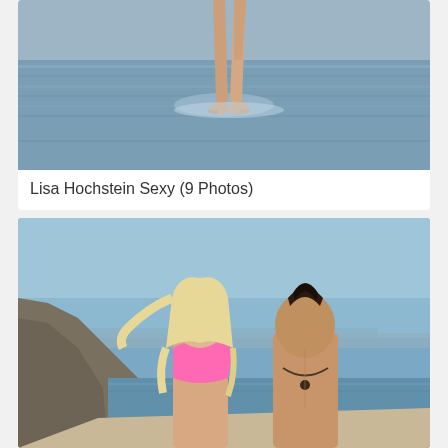[Figure (photo): Cropped photo showing legs of a person standing in water, waves visible around the feet and lower legs]
Lisa Hochstein Sexy (9 Photos)
[Figure (photo): Beach photo showing a blonde woman in a pink bikini walking with a shirtless man with dark hair and a necklace, rocky cliffs and blue sky in background]